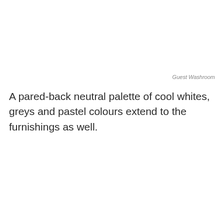Guest Washroom
A pared-back neutral palette of cool whites, greys and pastel colours extend to the furnishings as well.